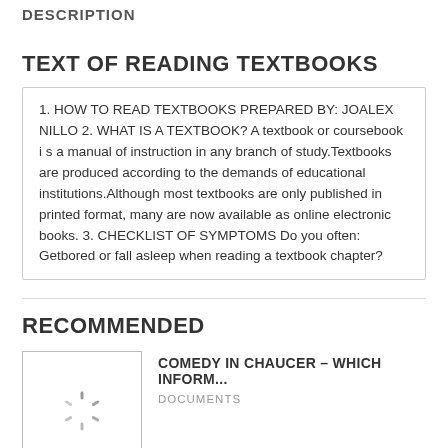DESCRIPTION
TEXT OF READING TEXTBOOKS
1. HOW TO READ TEXTBOOKS PREPARED BY: JOALEX NILLO
2. WHAT IS A TEXTBOOK? A textbook or coursebook i s a manual of instruction in any branch of study.Textbooks are produced according to the demands of educational institutions.Although most textbooks are only published in printed format, many are now available as online electronic books. 3. CHECKLIST OF SYMPTOMS Do you often: Getbored or fall asleep when reading a textbook chapter?
RECOMMENDED
[Figure (illustration): Loading spinner icon (circular dashed spinner graphic)]
COMEDY IN CHAUCER – WHICH INFORM...
DOCUMENTS